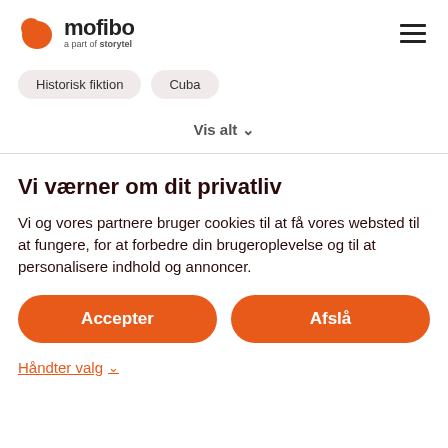[Figure (logo): Mofibo logo with orange speech bubble icon and text 'mofibo a part of storytel']
Historisk fiktion
Cuba
Vis alt ∨
Vi værner om dit privatliv
Vi og vores partnere bruger cookies til at få vores websted til at fungere, for at forbedre din brugeroplevelse og til at personalisere indhold og annoncer.
Accepter
Afslå
Håndter valg ∨